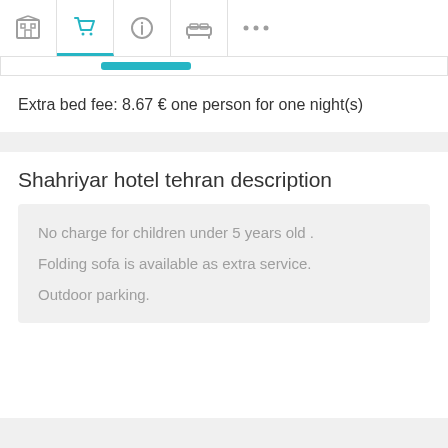[Figure (screenshot): Navigation tab bar with hotel, cart (active/teal), info, bed/sofa, and more icons]
Extra bed fee: 8.67 € one person for one night(s)
Shahriyar hotel tehran description
No charge for children under 5 years old .
Folding sofa is available as extra service.
Outdoor parking.